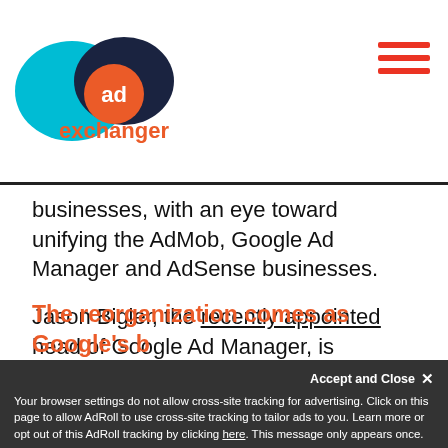AdExchanger logo and hamburger menu
businesses, with an eye toward unifying the AdMob, Google Ad Manager and AdSense businesses.
Jason Bigler, the recently appointed head of Google Ad Manager, is departing, moving to a fin tech after a long run at both DoubleClick and Google. He will lead product management and engineering strategy for Two Sigma, a company that uses AI and machine learning to trade stocks. Its largest line of business is a hedge fund.
The reorganization comes as Google's b
Your browser settings do not allow cross-site tracking for advertising. Click on this page to allow AdRoll to use cross-site tracking to tailor ads to you. Learn more or opt out of this AdRoll tracking by clicking here. This message only appears once.